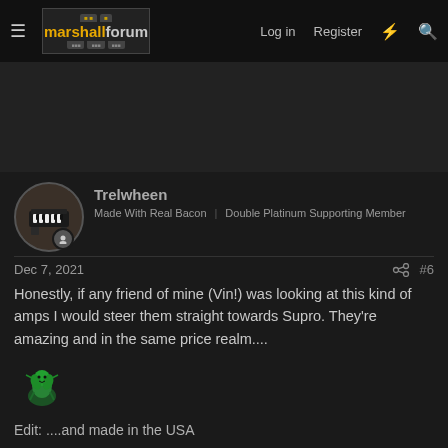marshallforum — Log in  Register
[Figure (screenshot): Advertisement area (dark gray background)]
Trelwheen
Made With Real Bacon   Double Platinum Supporting Member
Dec 7, 2021   #6
Honestly, if any friend of mine (Vin!) was looking at this kind of amps I would steer them straight towards Supro. They're amazing and in the same price realm....
[Figure (illustration): Small green cartoon character emoji/sticker]
Edit: ....and made in the USA